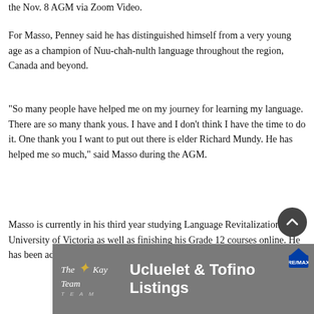the Nov. 8 AGM via Zoom Video.
For Masso, Penney said he has distinguished himself from a very young age as a champion of Nuu-chah-nulth language throughout the region, Canada and beyond.
“So many people have helped me on my journey for learning my language. There are so many thank yous. I have and I don’t think I have the time to do it. One thank you I want to put out there is elder Richard Mundy. He has helped me so much,” said Masso during the AGM.
Masso is currently in his third year studying Language Revitalization at the University of Victoria as well as finishing his Grade 12 courses online. He has been advocating for
[Figure (other): Advertisement banner for 'Ucluelet & Tofino Listings' by The Kay Team, a real estate service, with RE/MAX logo]